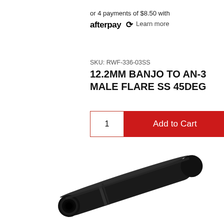or 4 payments of $8.50 with afterpay Learn more
SKU: RWF-336-03SS
12.2MM BANJO TO AN-3 MALE FLARE SS 45DEG
1  Add to Cart
[Figure (photo): A black cylindrical tube/rod fitting (banjo to AN-3 male flare SS 45deg) photographed diagonally against a white background]